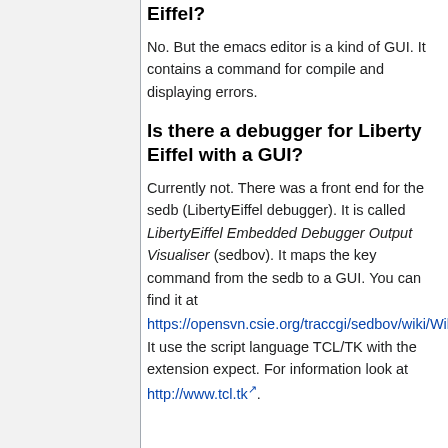Eiffel?
No. But the emacs editor is a kind of GUI. It contains a command for compile and displaying errors.
Is there a debugger for Liberty Eiffel with a GUI?
Currently not. There was a front end for the sedb (LibertyEiffel debugger). It is called LibertyEiffel Embedded Debugger Output Visualiser (sedbov). It maps the key command from the sedb to a GUI. You can find it at https://opensvn.csie.org/traccgi/sedbov/wiki/WikiStart. It use the script language TCL/TK with the extension expect. For information look at http://www.tcl.tk.